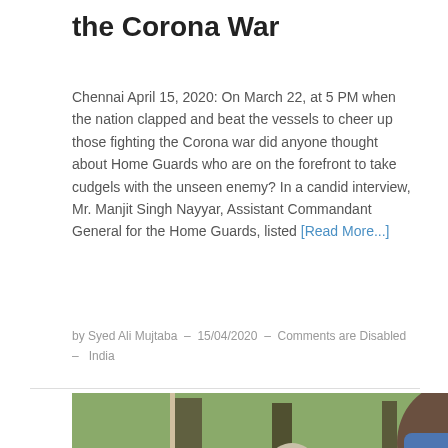the Corona War
Chennai April 15, 2020: On March 22, at 5 PM when the nation clapped and beat the vessels to cheer up those fighting the Corona war did anyone thought about Home Guards who are on the forefront to take cudgels with the unseen enemy? In a candid interview, Mr. Manjit Singh Nayyar, Assistant Commandant General for the Home Guards, listed [Read More...]
by Syed Ali Mujtaba – 15/04/2020 – Comments are Disabled – India
[Figure (photo): Crowd of people wearing blue face masks standing in a line outdoors, one person in foreground wearing a red shirt with SALE text]